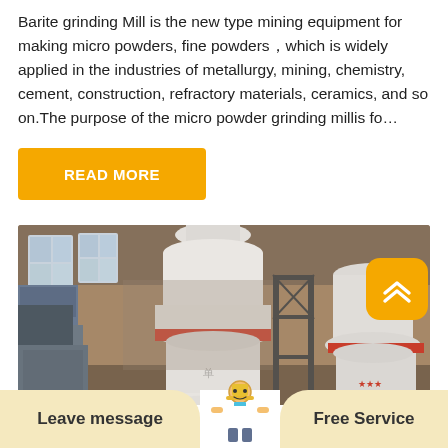Barite grinding Mill is the new type mining equipment for making micro powders, fine powders，which is widely applied in the industries of metallurgy, mining, chemistry, cement, construction, refractory materials, ceramics, and so on.The purpose of the micro powder grinding millis fo…
READ MORE
[Figure (photo): Industrial barite grinding mill equipment inside a factory; large white cylindrical machines with red accent bands, metal scaffolding structures, industrial interior with windows in background.]
Leave message
[Figure (illustration): Icon of a customer service representative / engineer figure]
Free Service